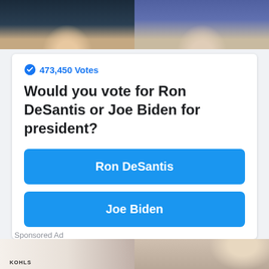[Figure (photo): Two political figures side by side — man in dark suit with American flag on left, man in white shirt on right]
473,450 Votes
Would you vote for Ron DeSantis or Joe Biden for president?
Ron DeSantis
Joe Biden
Sponsored Ad
[Figure (photo): Two advertisement images side by side — left shows Kohl's shopping bag with red decorative pillows and a child, right shows a woman laughing in a holiday home setting]